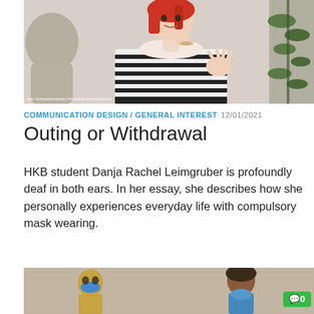[Figure (photo): Woman with red hair in a striped shirt, appears to be using sign language or gesturing with her hands. A plant is visible in the background. Photo credit: Schweizerischer Hörbehindertenverband]
COMMUNICATION DESIGN / GENERAL INTEREST 12/01/2021
Outing or Withdrawal
HKB student Danja Rachel Leimgruber is profoundly deaf in both ears. In her essay, she describes how she personally experiences everyday life with compulsory mask wearing.
[Figure (photo): Street art/graffiti showing a figure wearing a blue mask on a wall, with a child wearing a blue face mask standing nearby. A green comment badge showing 0 comments is visible.]